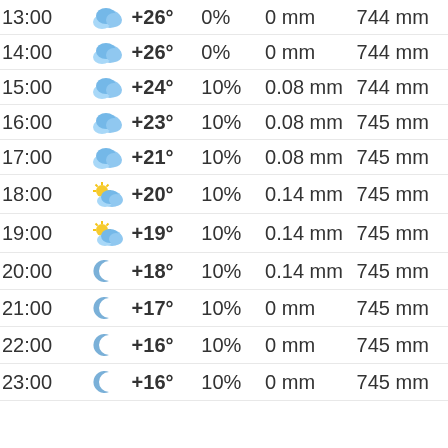| Time | Icon | Temp | Precip% | Precip mm | Pressure |
| --- | --- | --- | --- | --- | --- |
| 13:00 | cloudy | +26° | 0% | 0 mm | 744 mm |
| 14:00 | cloudy | +26° | 0% | 0 mm | 744 mm |
| 15:00 | cloudy | +24° | 10% | 0.08 mm | 744 mm |
| 16:00 | cloudy | +23° | 10% | 0.08 mm | 745 mm |
| 17:00 | cloudy | +21° | 10% | 0.08 mm | 745 mm |
| 18:00 | partly-cloudy-sun | +20° | 10% | 0.14 mm | 745 mm |
| 19:00 | partly-cloudy-sun | +19° | 10% | 0.14 mm | 745 mm |
| 20:00 | moon | +18° | 10% | 0.14 mm | 745 mm |
| 21:00 | moon | +17° | 10% | 0 mm | 745 mm |
| 22:00 | moon | +16° | 10% | 0 mm | 745 mm |
| 23:00 | moon | +16° | 10% | 0 mm | 745 mm |